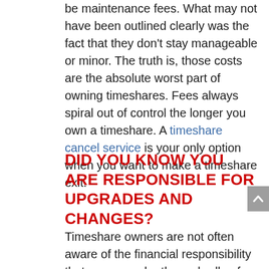be maintenance fees. What may not have been outlined clearly was the fact that they don't stay manageable or minor. The truth is, those costs are the absolute worst part of owning timeshares. Fees always spiral out of control the longer you own a timeshare. A timeshare cancel service is your only option when you want to make a timeshare exit.
DID YOU KNOW YOU ARE RESPONSIBLE FOR UPGRADES AND CHANGES?
Timeshare owners are not often aware of the financial responsibility that comes under the umbrella of special assessment fees. They aren't exactly embarked upon while you're